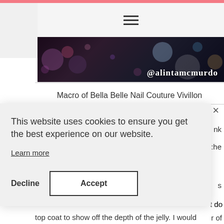[Figure (screenshot): Website screenshot showing a blog page with hamburger menu icon, dark bokeh photo banner with @alintamcmurdo handle, and a cookie consent modal overlay]
Macro of Bella Belle Nail Couture Vivillon
Bella Belle Nail Couture Vivillon is a black jelly polish...nk...he...s...t do...r of top coat to show off the depth of the jelly. I would
This website uses cookies to ensure you get the best experience on our website.
Learn more
Decline
Accept